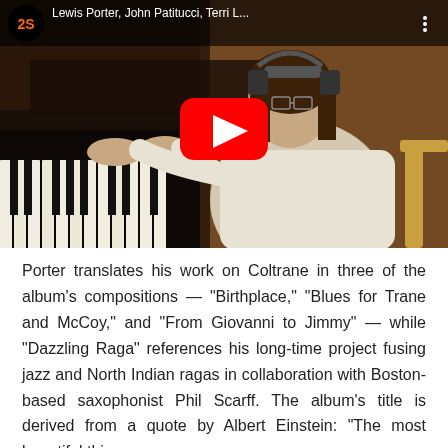[Figure (screenshot): YouTube video thumbnail showing a person playing piano, wearing headphones and a white t-shirt, viewed from behind/side. The video is titled 'Lewis Porter, John Patitucci, Terri L...' with the YouTube interface overlay including play button and channel logo.]
Porter translates his work on Coltrane in three of the album's compositions — "Birthplace," "Blues for Trane and McCoy," and "From Giovanni to Jimmy" — while "Dazzling Raga" references his long-time project fusing jazz and North Indian ragas in collaboration with Boston-based saxophonist Phil Scarff. The album's title is derived from a quote by Albert Einstein: "The most beautiful thing we can